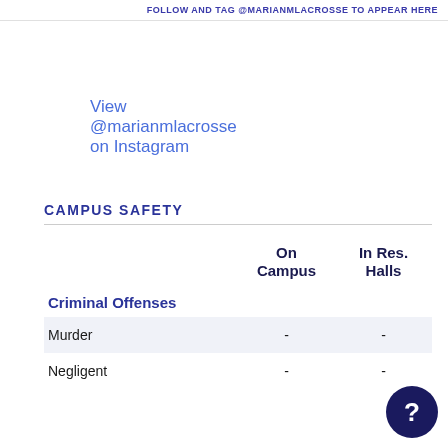FOLLOW AND TAG @MARIANMLACROSSE TO APPEAR HERE
View @marianmlacrosse on Instagram
CAMPUS SAFETY
|  | On Campus | In Res. Halls |
| --- | --- | --- |
| Criminal Offenses |  |  |
| Murder | - | - |
| Negligent | - | - |